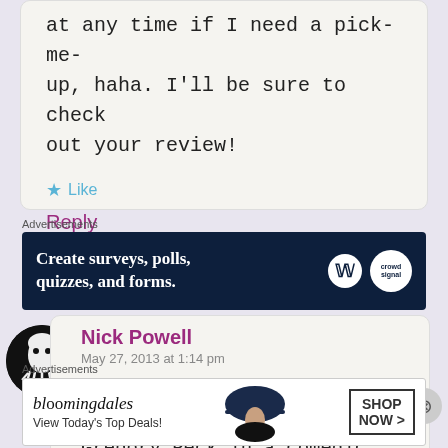at any time if I need a pick-me-up, haha. I'll be sure to check out your review!
Like
Reply
Advertisements
[Figure (other): Advertisement banner: Create surveys, polls, quizzes, and forms. Dark navy background with WordPress and Crowdsignal logos.]
Nick Powell
May 27, 2013 at 1:14 pm
Such a fun movie. So cool seeing Gregory Peck in a comedic role too
Advertisements
[Figure (other): Bloomingdale's advertisement: View Today's Top Deals! Shop Now >]